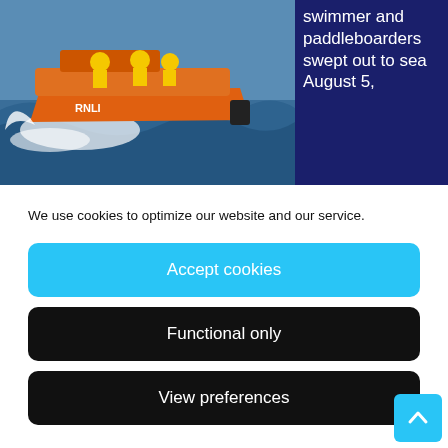[Figure (photo): Orange RNLI lifeboat speeding through choppy sea water with crew members in yellow gear]
swimmer and paddleboarders swept out to sea August 5,
We use cookies to optimize our website and our service.
Accept cookies
Functional only
View preferences
[Figure (photo): Headshot of a man with short hair against a light background]
Canterbury law firm warns rugby lags behind as football